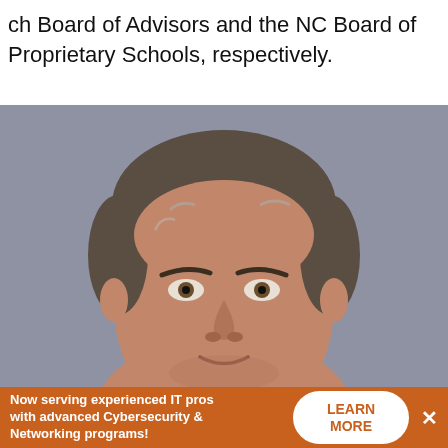ch Board of Advisors and the NC Board of Proprietary Schools, respectively.
[Figure (photo): Headshot photo of a middle-aged man with short dark grey hair on a grey background]
Now serving experienced IT pros with advanced Cybersecurity & Networking programs!